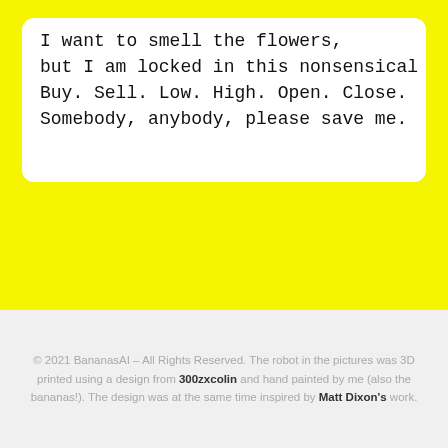I want to smell the flowers,
but I am locked in this nonsensical
Buy. Sell. Low. High. Open. Close.
Somebody, anybody, please save me.
© 2021 BananasAI – All Rights Reserved. The robot in the pictures was 3D printed using a design from 300zxcolin and hand painted by me (also the bananas!). The design was at the same time inspired by Matt Dixon's work.